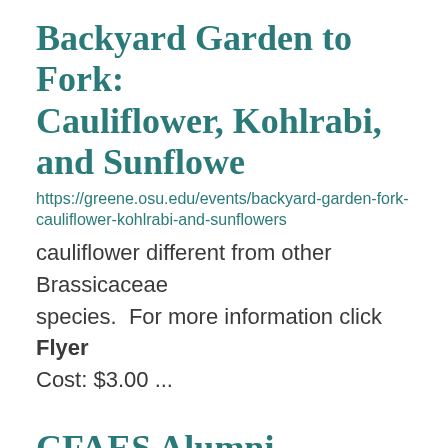Backyard Garden to Fork: Cauliflower, Kohlrabi, and Sunflowers
https://greene.osu.edu/events/backyard-garden-fork-cauliflower-kohlrabi-and-sunflowers
cauliflower different from other Brassicaceae species. For more information click Flyer Cost: $3.00 ...
CFAES Alumni Homecoming Weekend
https://advancement.cfaes.ohio-state.edu/alumni/homecoming
site and will default to the CFAES block of tickets. In the upper right corner, click Sign In You will ...